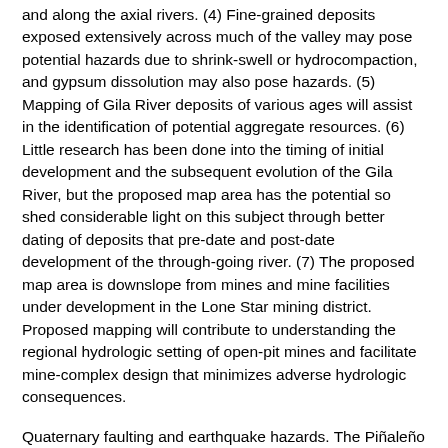and along the axial rivers. (4) Fine-grained deposits exposed extensively across much of the valley may pose potential hazards due to shrink-swell or hydrocompaction, and gypsum dissolution may also pose hazards. (5) Mapping of Gila River deposits of various ages will assist in the identification of potential aggregate resources. (6) Little research has been done into the timing of initial development and the subsequent evolution of the Gila River, but the proposed map area has the potential so shed considerable light on this subject through better dating of deposits that pre-date and post-date development of the through-going river. (7) The proposed map area is downslope from mines and mine facilities under development in the Lone Star mining district. Proposed mapping will contribute to understanding the regional hydrologic setting of open-pit mines and facilitate mine-complex design that minimizes adverse hydrologic consequences.
Quaternary faulting and earthquake hazards. The Pinaleño Mountains, which form the footwall to the normal-fault zone at the southwest margin of the Safford basin, included mylonitic crystalline rocks at the foot of the range that formed